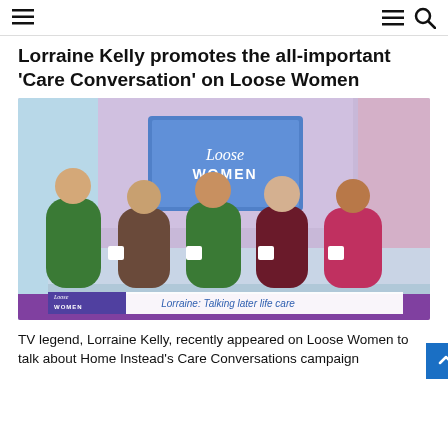≡  ≡ 🔍
Lorraine Kelly promotes the all-important 'Care Conversation' on Loose Women
[Figure (photo): TV show still from Loose Women featuring five women seated at a panel desk with the 'Loose Women' logo on a screen behind them. A lower-third graphic reads 'Lorraine: Talking later life care'.]
TV legend, Lorraine Kelly, recently appeared on Loose Women to talk about Home Instead's Care Conversations campaign